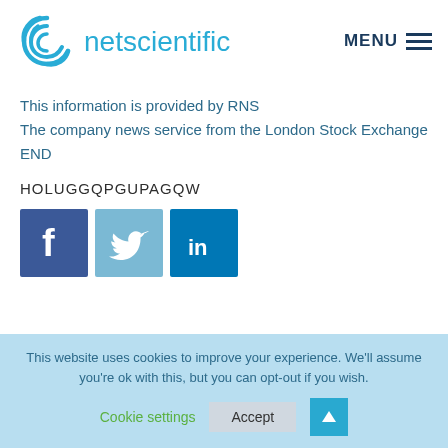[Figure (logo): NetScientific logo with spiral icon and 'netscientific' text in teal/blue]
MENU ☰
This information is provided by RNS
The company news service from the London Stock Exchange
END
HOLUGGQPGUPAGQW
[Figure (infographic): Social media icons: Facebook (blue), Twitter (light blue), LinkedIn (dark blue)]
This website uses cookies to improve your experience. We'll assume you're ok with this, but you can opt-out if you wish.
Cookie settings   Accept